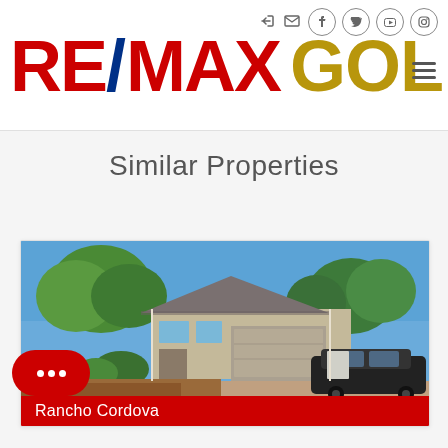[Figure (logo): RE/MAX GOLD logo with red RE/MAX text and gold GOLD text, with hamburger menu icon and social/navigation icons in header]
Similar Properties
[Figure (photo): Exterior photo of a single-story suburban home in Rancho Cordova with blue sky, green trees, attached two-car garage, and a black car in the driveway]
Rancho Cordova